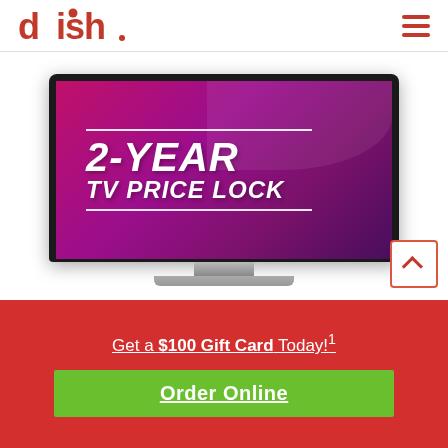dish (logo) | hamburger menu
[Figure (illustration): A flat-screen television displaying a magenta/purple gradient screen with white bold italic text reading '2-YEAR TV PRICE LOCK' with white horizontal lines above and below the text. The TV has a thin black bezel and a silver stand.]
Get a $100 Gift Card Today!1
Order Online